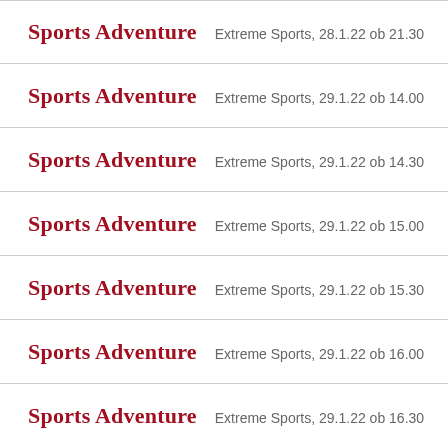Sports Adventure  Extreme Sports, 28.1.22 ob 21.30
Sports Adventure  Extreme Sports, 29.1.22 ob 14.00
Sports Adventure  Extreme Sports, 29.1.22 ob 14.30
Sports Adventure  Extreme Sports, 29.1.22 ob 15.00
Sports Adventure  Extreme Sports, 29.1.22 ob 15.30
Sports Adventure  Extreme Sports, 29.1.22 ob 16.00
Sports Adventure  Extreme Sports, 29.1.22 ob 16.30